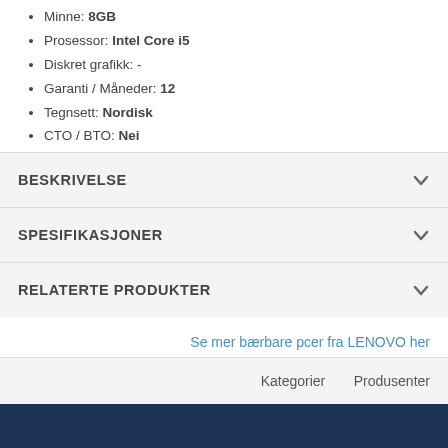Minne: 8GB
Prosessor: Intel Core i5
Diskret grafikk: -
Garanti / Måneder: 12
Tegnsett: Nordisk
CTO / BTO: Nei
BESKRIVELSE
SPESIFIKASJONER
RELATERTE PRODUKTER
Se mer bærbare pcer fra LENOVO her
Kategorier   Produsenter